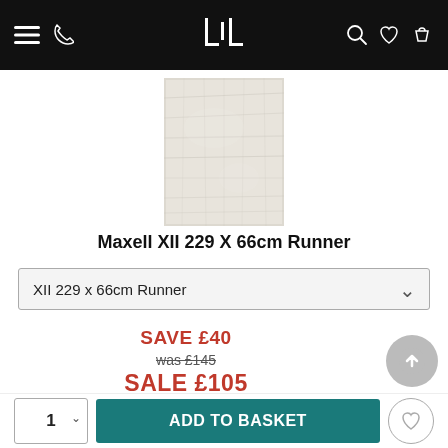Navigation bar with menu, phone, logo (JL), search, wishlist, basket icons
[Figure (photo): Product photo of a light grey/cream textured rug runner (Maxell XII 229 X 66cm Runner)]
Maxell XII 229 X 66cm Runner
XII 229 x 66cm Runner (dropdown selector)
SAVE £40
was £145
SALE £105
Made to Order in 3 weeks
ADD TO BASKET